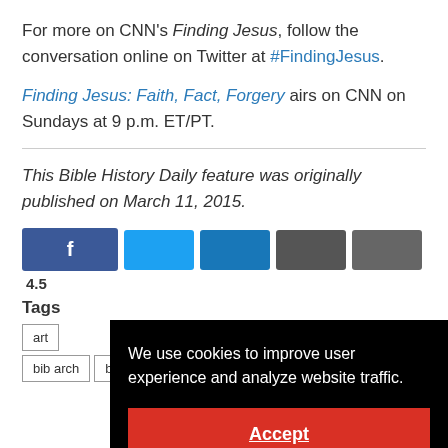For more on CNN's Finding Jesus, follow the conversation online on Twitter at #FindingJesus.
Finding Jesus: Faith, Fact, Forgery airs on CNN on Sundays at 9 p.m. ET/PT.
This Bible History Daily feature was originally published on March 11, 2015.
[Figure (infographic): Social share buttons: Facebook (f), Twitter (blue), LinkedIn (darker blue), two dark share buttons. Share count showing 4.5...]
Tags
art | bib arch | bib arch org | Bible
We use cookies to improve user experience and analyze website traffic. Accept